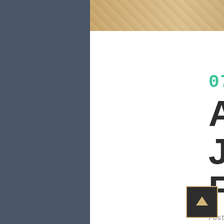[Figure (photo): Partial photo of wooden floor and chair legs at the top of the page]
07 OCT
AMSTERDAM JAZZ FESTIVAL
Posted at 14:22h in by NikitAdmin . 0 Comments . 3 Likes . Share
Lorem ipsum dolor sit amet, consectetuer adipiscing elit. Nam cursus Morbi ut mi. Nullam